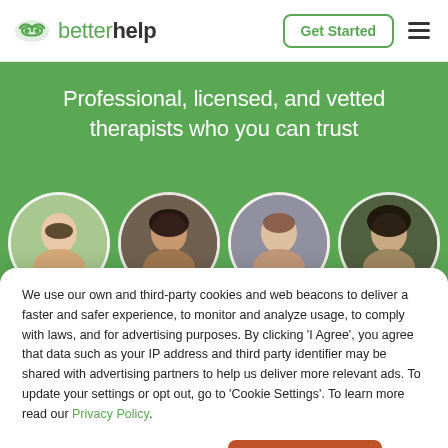betterhelp — Get Started
Professional, licensed, and vetted therapists who you can trust
[Figure (photo): Four circular profile photos of therapists on a green background]
We use our own and third-party cookies and web beacons to deliver a faster and safer experience, to monitor and analyze usage, to comply with laws, and for advertising purposes. By clicking 'I Agree', you agree that data such as your IP address and third party identifier may be shared with advertising partners to help us deliver more relevant ads. To update your settings or opt out, go to 'Cookie Settings'. To learn more read our Privacy Policy.
Cookie Settings | I Agree